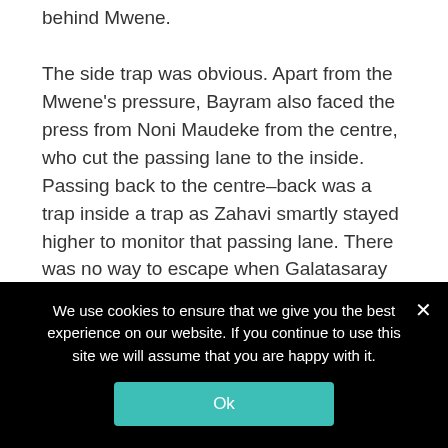behind Mwene.
The side trap was obvious. Apart from the Mwene's pressure, Bayram also faced the press from Noni Maudeke from the centre, who cut the passing lane to the inside. Passing back to the centre–back was a trap inside a trap as Zahavi smartly stayed higher to monitor that passing lane. There was no way to escape when Galatasaray entered the side trap.
The positioning of the midfielders was crucial as well – they needed to dictate the central spaces
We use cookies to ensure that we give you the best experience on our website. If you continue to use this site we will assume that you are happy with it.